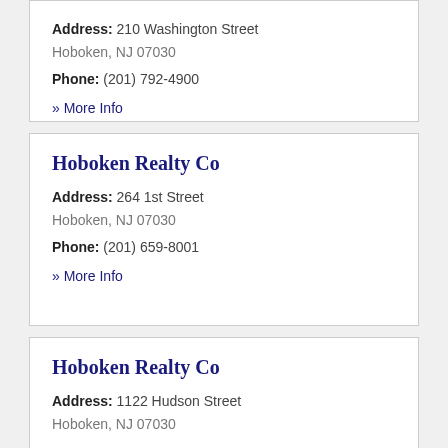Address: 210 Washington Street Hoboken, NJ 07030
Phone: (201) 792-4900
» More Info
Hoboken Realty Co
Address: 264 1st Street Hoboken, NJ 07030
Phone: (201) 659-8001
» More Info
Hoboken Realty Co
Address: 1122 Hudson Street Hoboken, NJ 07030